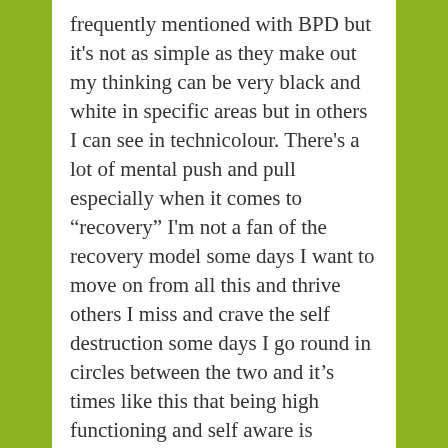frequently mentioned with BPD but it's not as simple as they make out my thinking can be very black and white in specific areas but in others I can see in technicolour. There's a lot of mental push and pull especially when it comes to “recovery” I'm not a fan of the recovery model some days I want to move on from all this and thrive others I miss and crave the self destruction some days I go round in circles between the two and it's times like this that being high functioning and self aware is actually painful because I can see what I'm doing to myself and others but there is no pull in the world strong enough to stop me from self destruction that can override the self hate and self sabotage.
I found myself arguing with someone the other